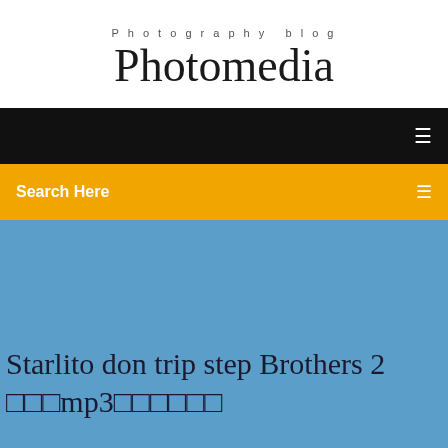Photography blog
Photomedia
[Figure (screenshot): Black navigation bar with a small white menu icon on the right]
[Figure (screenshot): Yellow/orange search bar with 'Search Here' text on the left and a search icon on the right]
Starlito don trip step Brothers 2 □□□mp3□□□□□□□